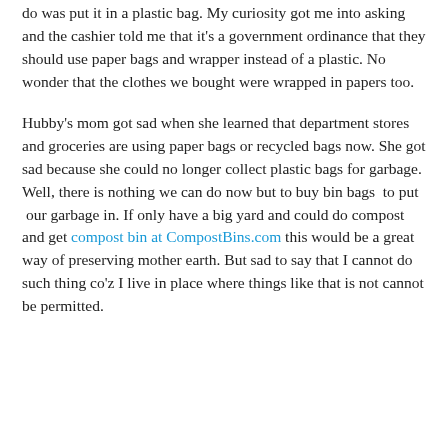do was put it in a plastic bag. My curiosity got me into asking and the cashier told me that it's a government ordinance that they should use paper bags and wrapper instead of a plastic. No wonder that the clothes we bought were wrapped in papers too.
Hubby's mom got sad when she learned that department stores and groceries are using paper bags or recycled bags now. She got sad because she could no longer collect plastic bags for garbage. Well, there is nothing we can do now but to buy bin bags  to put  our garbage in. If only have a big yard and could do compost and get compost bin at CompostBins.com this would be a great way of preserving mother earth. But sad to say that I cannot do such thing co'z I live in place where things like that is not cannot be permitted.